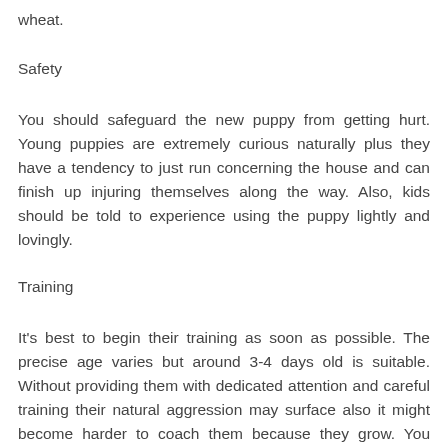wheat.
Safety
You should safeguard the new puppy from getting hurt. Young puppies are extremely curious naturally plus they have a tendency to just run concerning the house and can finish up injuring themselves along the way. Also, kids should be told to experience using the puppy lightly and lovingly.
Training
It's best to begin their training as soon as possible. The precise age varies but around 3-4 days old is suitable. Without providing them with dedicated attention and careful training their natural aggression may surface also it might become harder to coach them because they grow. You could begin with the basics and essentials so the